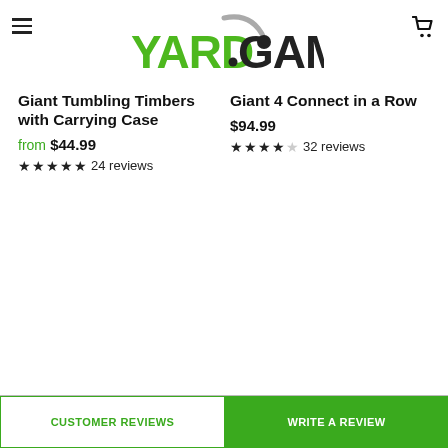[Figure (logo): YARD GAMES logo with green YARD text and black GAMES text, with a golf ball arc graphic]
Giant Tumbling Timbers with Carrying Case
from $44.99
★★★★★ 24 reviews
Giant 4 Connect in a Row
$94.99
★★★★☆ 32 reviews
CUSTOMER REVIEWS
WRITE A REVIEW